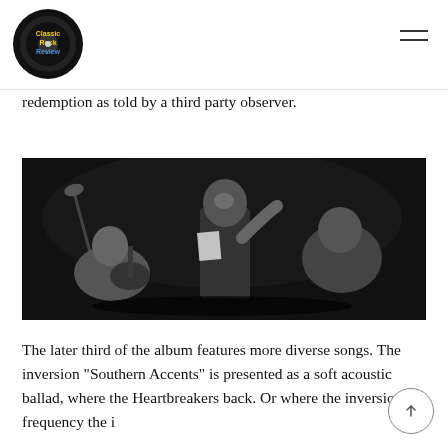Classic Rock Review
redemption as told by a third party observer.
[Figure (photo): Black and white photo of three musicians in a recording studio. A man stands in the center holding papers with one hand raised. A guitarist sits on the left, and another person is on the right.]
The later third of the album features more diverse songs. The inversion “Southern Accents” is presented as a soft acoustic ballad, where the Heartbreakers back. Or where the inversion frequency the i